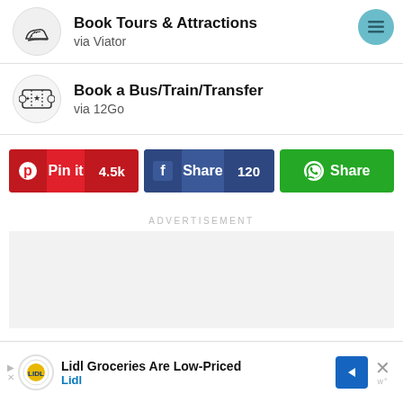[Figure (illustration): Icon of a running shoe, Book Tours & Attractions listing via Viator with menu button]
Book Tours & Attractions
via Viator
[Figure (illustration): Icon of a ticket, Book a Bus/Train/Transfer listing via 12Go]
Book a Bus/Train/Transfer
via 12Go
[Figure (infographic): Share buttons row: Pinterest Pin it 4.5k, Facebook Share 120, WhatsApp Share]
ADVERTISEMENT
[Figure (illustration): Lidl advertisement banner: Lidl Groceries Are Low-Priced, Lidl brand name]